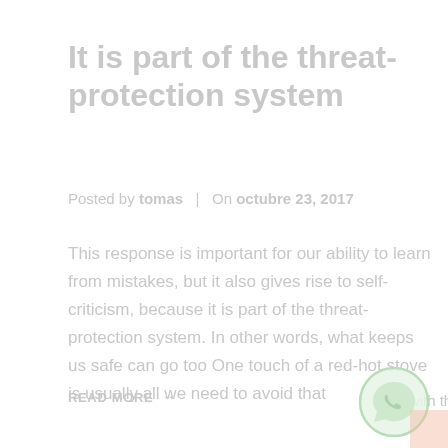It is part of the threat-protection system
Posted by tomas  |  On octubre 23, 2017
This response is important for our ability to learn from mistakes, but it also gives rise to self-criticism, because it is part of the threat-protection system. In other words, what keeps us safe can go too One touch of a red-hot stove is usually all we need to avoid that
READ MORE →
Talk with the team
[Figure (logo): WhatsApp-style circular chat icon in light green, with a small red/pink square in bottom-right corner]